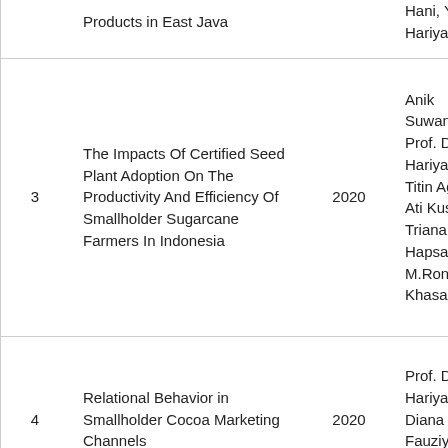| No | Title | Year | Author(s) |
| --- | --- | --- | --- |
|  | Products in East Java |  | Hani, Yuli Hariyati |
| 3 | The Impacts Of Certified Seed Plant Adoption On The Productivity And Efficiency Of Smallholder Sugarcane Farmers In Indonesia | 2020 | Anik Suwandari, Prof. Dr. Ir. Yu Hariyati, MS., Titin Agustina, Ati Kusmiati, Triana Dewi Hapsari, M.Rondhi, Af Khasan |
| 4 | Relational Behavior in Smallholder Cocoa Marketing Channels | 2020 | Prof. Dr. Ir. Yu Hariyati, MS., Diana Fauziyah, Inda Ibanah, Rena |